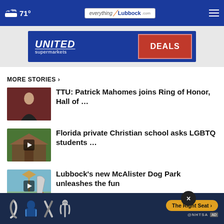71° | everythingLubbock.com
[Figure (infographic): United Supermarkets DEALS advertisement banner]
MORE STORIES ›
[Figure (photo): Thumbnail of Patrick Mahomes in red jacket]
TTU: Patrick Mahomes joins Ring of Honor, Hall of …
[Figure (photo): Thumbnail of Florida Christian school building with play icon]
Florida private Christian school asks LGBTQ students …
[Figure (photo): Thumbnail of McAlister Dog Park with play icon]
Lubbock’s new McAlister Dog Park unleashes the fun
[Figure (photo): Thumbnail of purple/pink abstract image]
SAPD: Texas man shoots, kills suspect
[Figure (photo): Thumbnail partially visible at bottom]
Couple honored for following Bowie
[Figure (infographic): NHTSA The Right Seat advertisement banner at bottom with close button]